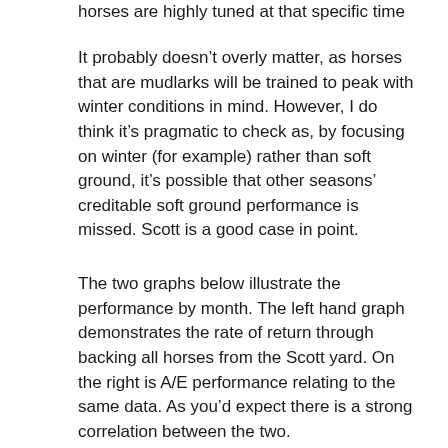horses are highly tuned at that specific time of year.
It probably doesn't overly matter, as horses that are mudlarks will be trained to peak with winter conditions in mind. However, I do think it's pragmatic to check as, by focusing on winter (for example) rather than soft ground, it's possible that other seasons' creditable soft ground performance is missed. Scott is a good case in point.
The two graphs below illustrate the performance by month. The left hand graph demonstrates the rate of return through backing all horses from the Scott yard. On the right is A/E performance relating to the same data. As you'd expect there is a strong correlation between the two.